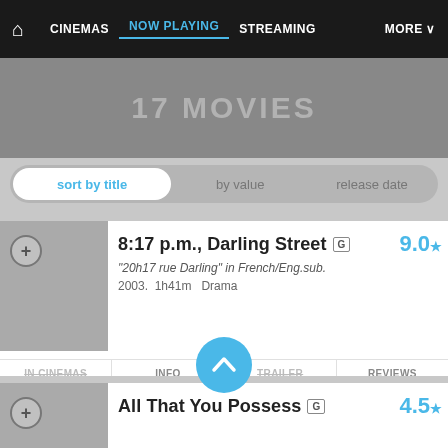CINEMAS  NOW PLAYING  STREAMING  MORE
17 MOVIES
sort by title  |  by value  |  release date
8:17 p.m., Darling Street [G] 9.0 — "20h17 rue Darling" in French/Eng.sub. — 2003. 1h41m  Drama — IN CINEMAS | INFO | TRAILER | REVIEWS
All That You Possess [G] 4.5 — "Tout ce que tu possèdes" in French/Eng.sub. — 2012. 1h31m  Drama — IN CINEMAS | TRAILER | REVIEWS
L'Ange de goudron [G] 8.0